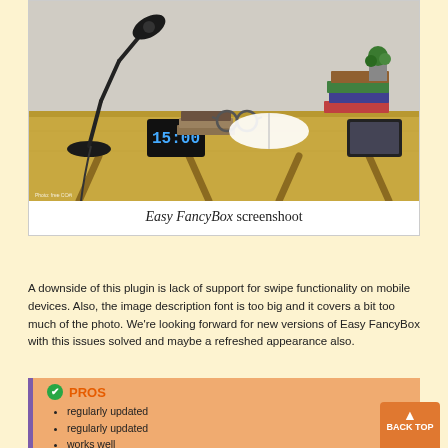[Figure (photo): Desk with lamp, digital clock showing 15:00, open notebooks, glasses, books and tablet on wooden surface]
Easy FancyBox screenshoot
A downside of this plugin is lack of support for swipe functionality on mobile devices. Also, the image description font is too big and it covers a bit too much of the photo. We're looking forward for new versions of Easy FancyBox with this issues solved and maybe a refreshed appearance also.
PROS
regularly updated
regularly updated
works well
displaying alt and title tags
grouping of photos by galleries